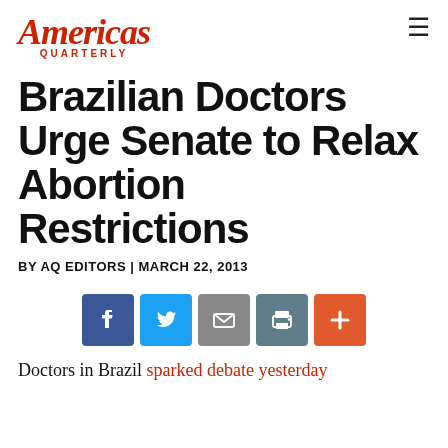Americas Quarterly
Brazilian Doctors Urge Senate to Relax Abortion Restrictions
BY AQ EDITORS | MARCH 22, 2013
[Figure (infographic): Social sharing buttons: Facebook (blue), Twitter (light blue), Email (gray), Print (dark gray), Plus/More (orange)]
Doctors in Brazil sparked debate yesterday